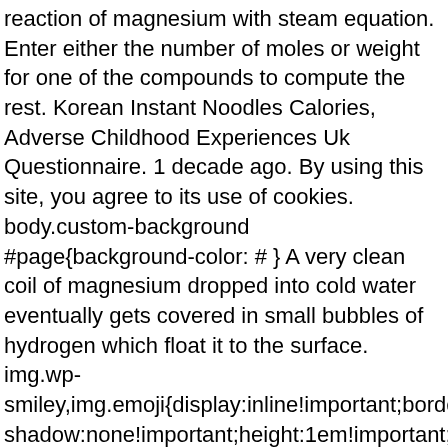reaction of magnesium with steam equation. Enter either the number of moles or weight for one of the compounds to compute the rest. Korean Instant Noodles Calories, Adverse Childhood Experiences Uk Questionnaire. 1 decade ago. By using this site, you agree to its use of cookies. body.custom-background #page{background-color: # } A very clean coil of magnesium dropped into cold water eventually gets covered in small bubbles of hydrogen which float it to the surface. img.wp-smiley,img.emoji{display:inline!important;border:none!important;box-shadow:none!important;height:1em!important;width:1em!important;margin:0 .07em!important;vertical-align:-.1em!important;background:none!important;padding:0!important} Magnesium metal does however react with steam to give magnesium oxide (MgO) (or magnesium hydroxide, Mg (OH) 2, with excess steam) and hydrogen gas (H 2). Answer. !function(a,b,c){function d(a,b){var c=String.fromCharCode;l.clearRect(0,0,k.width,k.height),l.fillText